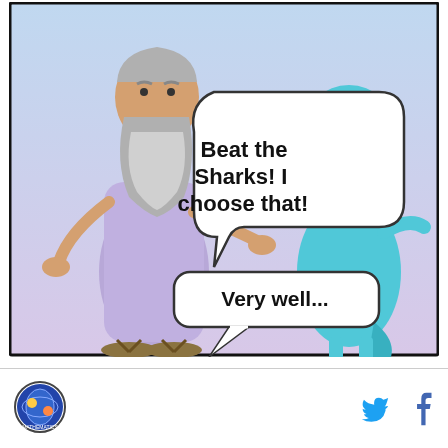[Figure (illustration): Comic panel with gradient blue-purple background. An old man with a long gray beard wearing a lavender robe gestures with both hands open. A cartoon blue duck-like creature stands to the right with one finger raised. Speech bubble from duck says 'Beat the Sharks! I choose that!' and a second speech bubble says 'Very well...' The panel has a black border.]
[Figure (logo): Circular logo with an illustration inside, dark border. Small circular emblem.]